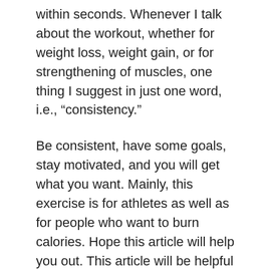within seconds. Whenever I talk about the workout, whether for weight loss, weight gain, or for strengthening of muscles, one thing I suggest in just one word, i.e., “consistency.”
Be consistent, have some goals, stay motivated, and you will get what you want. Mainly, this exercise is for athletes as well as for people who want to burn calories. Hope this article will help you out. This article will be helpful for both men as well as women.
Before starting this article, we must know how hollow body workouts help us strengthen our muscles? And how will these workouts help build weak muscle groups and increase muscle activity